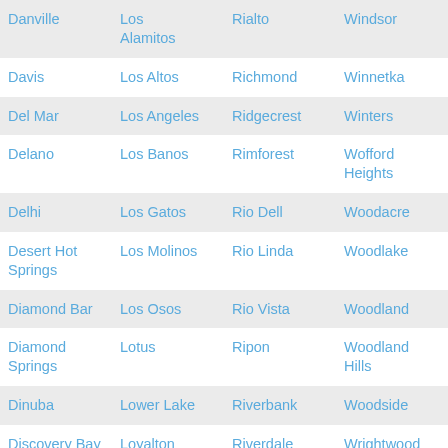| Danville | Alamitos | Rialto | Windsor |
| Davis | Los Altos | Richmond | Winnetka |
| Del Mar | Los Angeles | Ridgecrest | Winters |
| Delano | Los Banos | Rimforest | Wofford Heights |
| Delhi | Los Gatos | Rio Dell | Woodacre |
| Desert Hot Springs | Los Molinos | Rio Linda | Woodlake |
| Diamond Bar | Los Osos | Rio Vista | Woodland |
| Diamond Springs | Lotus | Ripon | Woodland Hills |
| Dinuba | Lower Lake | Riverbank | Woodside |
| Discovery Bay | Loyalton | Riverdale | Wrightwood |